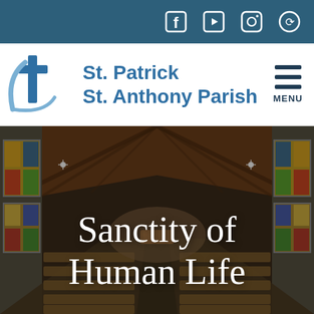Social media icons: Facebook, YouTube, Instagram, Pushpay
[Figure (logo): St. Patrick St. Anthony Parish logo with blue cross and swoosh graphic]
St. Patrick St. Anthony Parish
[Figure (photo): Interior of a church sanctuary with wood-beamed ceiling, stained glass windows on both sides, pews in foreground, and altar in background. Overlay text reads 'Sanctity of Human Life']